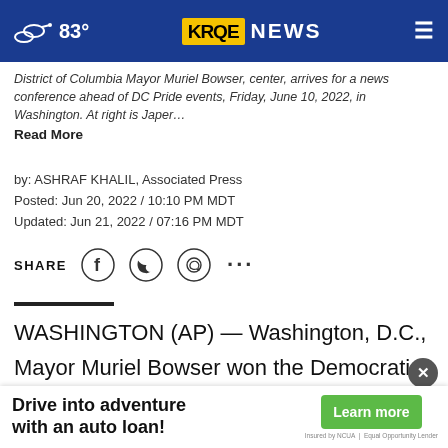83° KRQE NEWS
District of Columbia Mayor Muriel Bowser, center, arrives for a news conference ahead of DC Pride events, Friday, June 10, 2022, in Washington. At right is Japer…
Read More
by: ASHRAF KHALIL, Associated Press
Posted: Jun 20, 2022 / 10:10 PM MDT
Updated: Jun 21, 2022 / 07:16 PM MDT
SHARE
WASHINGTON (AP) — Washington, D.C., Mayor Muriel Bowser won the Democratic primary on Tuesday, overcoming a progressive rival and virtually guara...nteeing that she will win a third...term t...and
Drive into adventure with an auto loan! Learn more Insured by NCUA | Equal Opportunity Lender